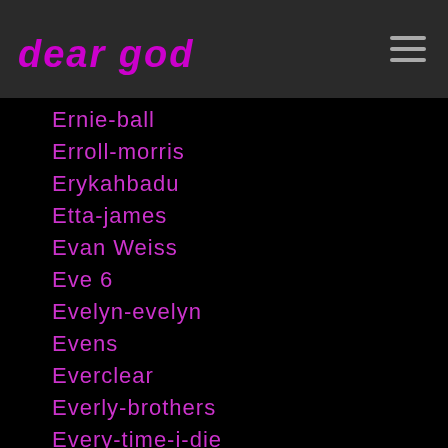dear god
Ernie-ball
Erroll-morris
Erykahbadu
Etta-james
Evan Weiss
Eve 6
Evelyn-evelyn
Evens
Everclear
Everly-brothers
Every-time-i-die
Evolution
Excuse-17
Exene Cervenka
Exhumed
Existentialism
Exodus